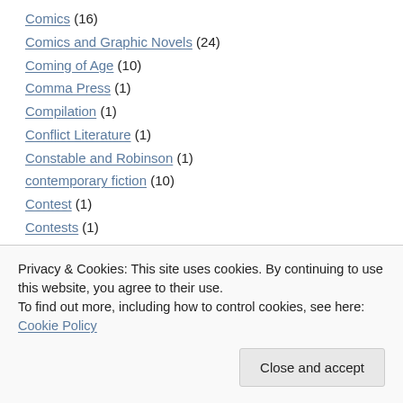Comics (16)
Comics and Graphic Novels (24)
Coming of Age (10)
Comma Press (1)
Compilation (1)
Conflict Literature (1)
Constable and Robinson (1)
contemporary fiction (10)
Contest (1)
Contests (1)
Context (7)
Conversations (2)
Privacy & Cookies: This site uses cookies. By continuing to use this website, you agree to their use. To find out more, including how to control cookies, see here: Cookie Policy
Counterpoint Press (2)